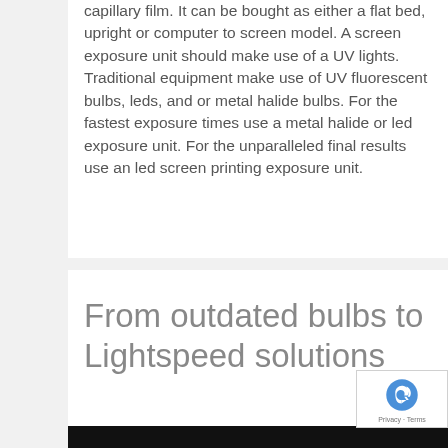capillary film. It can be bought as either a flat bed, upright or computer to screen model. A screen exposure unit should make use of a UV lights. Traditional equipment make use of UV fluorescent bulbs, leds, and or metal halide bulbs. For the fastest exposure times use a metal halide or led exposure unit. For the unparalleled final results use an led screen printing exposure unit.
From outdated bulbs to Lightspeed solutions
[Figure (other): Black bar at bottom of page, likely the top of an image]